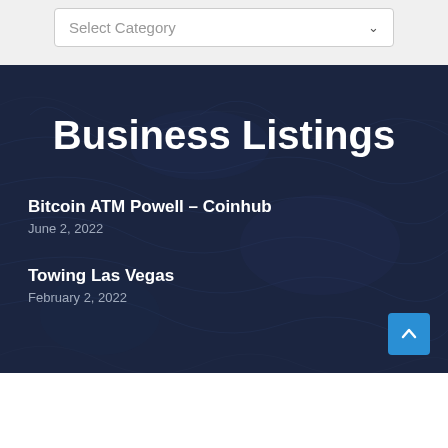[Figure (screenshot): Select Category dropdown UI element with white background, gray border, and dropdown arrow]
Business Listings
Bitcoin ATM Powell – Coinhub
June 2, 2022
Towing Las Vegas
February 2, 2022